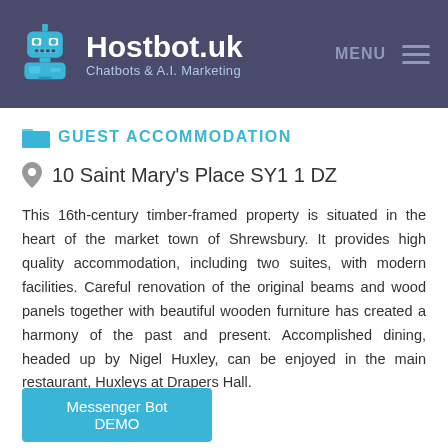Hostbot.uk — Chatbots & A.I. Marketing
GUEST ACCOMMODATION
10 Saint Mary's Place SY1 1 DZ
This 16th-century timber-framed property is situated in the heart of the market town of Shrewsbury. It provides high quality accommodation, including two suites, with modern facilities. Careful renovation of the original beams and wood panels together with beautiful wooden furniture has created a harmony of the past and present. Accomplished dining, headed up by Nigel Huxley, can be enjoyed in the main restaurant, Huxleys at Drapers Hall.
Messenger Bot DEMO